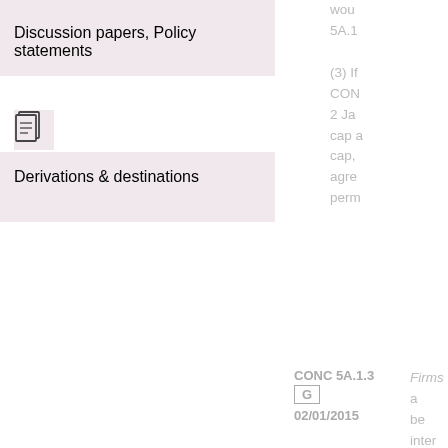Discussion papers, Policy statements
[Figure (other): Document icon]
Derivations & destinations
would... 5A.1... (3) If... CONC... 2 Ja... cap a... cap,... agre... perm...
CONC 5A.1.3
G
02/01/2015
Firms a... be inter...
Statut...
CONC 5A.1.4
G
Section... agreem...